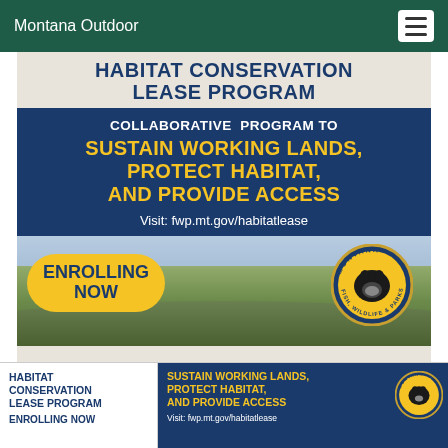Montana Outdoor
HABITAT CONSERVATION LEASE PROGRAM
COLLABORATIVE PROGRAM TO SUSTAIN WORKING LANDS, PROTECT HABITAT, AND PROVIDE ACCESS
Visit: fwp.mt.gov/habitatlease
[Figure (photo): Landscape photo of Montana fields and mountains with shrubs, with ENROLLING NOW badge in yellow and Montana Fish Wildlife & Parks circular logo]
HABITAT CONSERVATION LEASE PROGRAM ENROLLING NOW
SUSTAIN WORKING LANDS, PROTECT HABITAT, AND PROVIDE ACCESS Visit: fwp.mt.gov/habitatlease